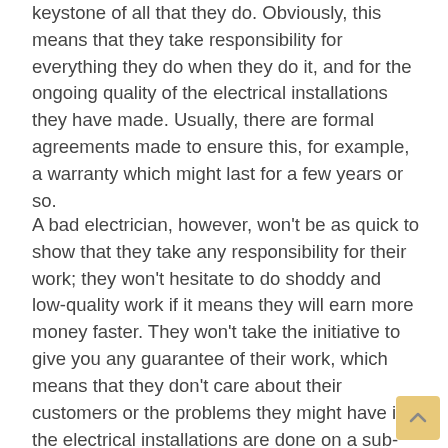keystone of all that they do. Obviously, this means that they take responsibility for everything they do when they do it, and for the ongoing quality of the electrical installations they have made. Usually, there are formal agreements made to ensure this, for example, a warranty which might last for a few years or so.
A bad electrician, however, won't be as quick to show that they take any responsibility for their work; they won't hesitate to do shoddy and low-quality work if it means they will earn more money faster. They won't take the initiative to give you any guarantee of their work, which means that they don't care about their customers or the problems they might have if the electrical installations are done on a sub-par level. Their work-only-for-money attitude will be reflected in how they answer their customers' complaints, and they can not be trusted to come back and fix mistakes, however